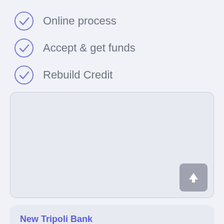Online process
Accept & get funds
Rebuild Credit
[Figure (other): Upload document card with an upload arrow button in the bottom right corner]
New Tripoli Bank
Rating: 4.6
Details: Loan agency